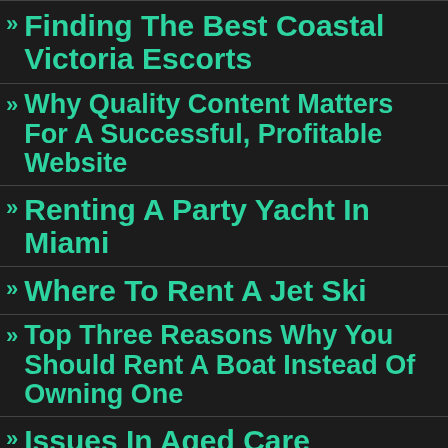Finding The Best Coastal Victoria Escorts
Why Quality Content Matters For A Successful, Profitable Website
Renting A Party Yacht In Miami
Where To Rent A Jet Ski
Top Three Reasons Why You Should Rent A Boat Instead Of Owning One
Issues In Aged Care Management
Everything About Gutter...